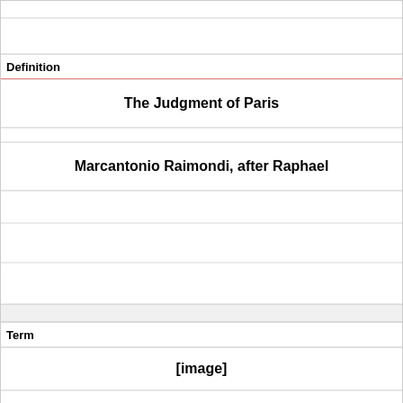Definition
The Judgment of Paris
Marcantonio Raimondi, after Raphael
Term
[Figure (photo): [image]]